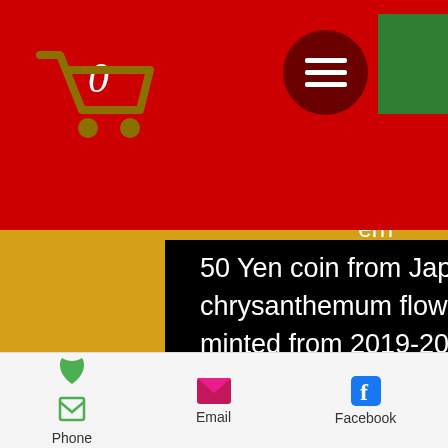[Figure (screenshot): Red header bar with shopping cart icon showing 0 items, dark red hamburger menu button, green square in top right corner]
ern
50 Yen coin from Japan. It features chrysanthemum flowers. These coins were minted from 2019-2020 and are copper-nickel.
Lettering on the outside of the band:
(Translation: State of Japan 50 yen)
Phone  Email  Facebook